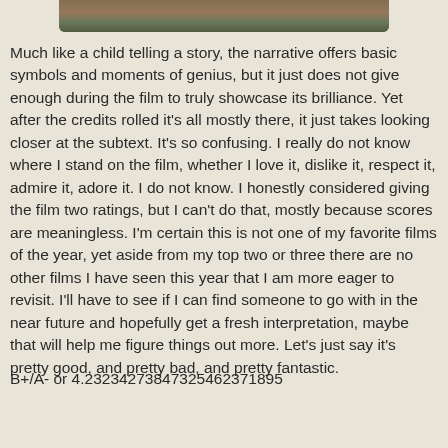[Figure (photo): Partial image of a dining scene visible at the top of the page, cropped at the bottom edge of the image frame]
Much like a child telling a story, the narrative offers basic symbols and moments of genius, but it just does not give enough during the film to truly showcase its brilliance. Yet after the credits rolled it's all mostly there, it just takes looking closer at the subtext. It's so confusing. I really do not know where I stand on the film, whether I love it, dislike it, respect it, admire it, adore it. I do not know. I honestly considered giving the film two ratings, but I can't do that, mostly because scores are meaningless. I'm certain this is not one of my favorite films of the year, yet aside from my top two or three there are no other films I have seen this year that I am more eager to revisit. I'll have to see if I can find someone to go with in the near future and hopefully get a fresh interpretation, maybe that will help me figure things out more. Let's just say it's pretty good, and pretty bad, and pretty fantastic.
B+/A- or 4.23234273847325462371895